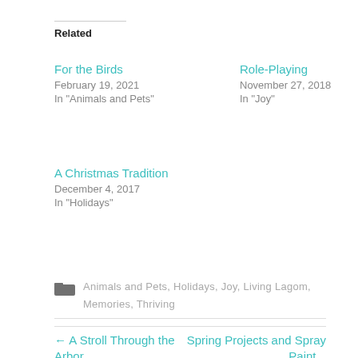Related
For the Birds
February 19, 2021
In "Animals and Pets"
Role-Playing
November 27, 2018
In "Joy"
A Christmas Tradition
December 4, 2017
In "Holidays"
Animals and Pets, Holidays, Joy, Living Lagom, Memories, Thriving
← A Stroll Through the Arbor...
Spring Projects and Spray Paint...→